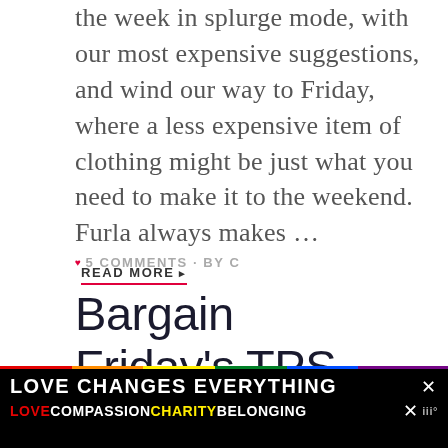the week in splurge mode, with our most expensive suggestions, and wind our way to Friday, where a less expensive item of clothing might be just what you need to make it to the weekend. Furla always makes … READ MORE ▸
♥ 5 COMMENTS · BY C
Bargain Friday's TPS Report: Martin + Osa's Candy-Stripe Cuffed Shirt
FASHION· THE PERSONAL SHOPPER (TPS) | MARTIN + OSA·
[Figure (other): Love Changes Everything charity banner with rainbow stripe and LOVE COMPASSION CHARITY BELONGING text]